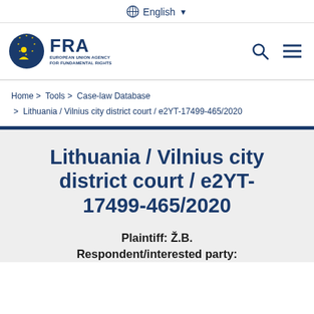🌐 English ▾
[Figure (logo): FRA - European Union Agency for Fundamental Rights logo with EU stars emblem]
Home > Tools > Case-law Database > Lithuania / Vilnius city district court / e2YT-17499-465/2020
Lithuania / Vilnius city district court / e2YT-17499-465/2020
Plaintiff: Ž.B. Respondent/interested party: